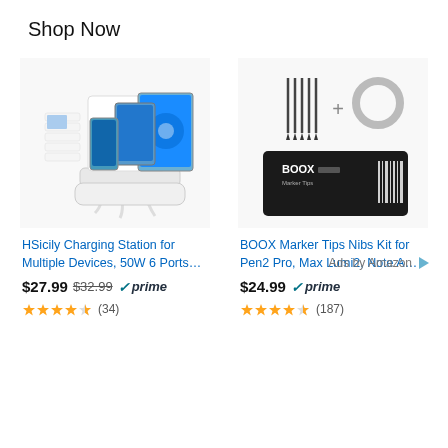Shop Now
[Figure (photo): HSicily Charging Station for Multiple Devices with 6 ports, showing multiple phones and tablets plugged in]
HSicily Charging Station for Multiple Devices, 50W 6 Ports…
$27.99  $32.99  ✓prime  ★★★★½ (34)
[Figure (photo): BOOX Marker Tips Nibs Kit product showing stylus tips and ring accessory, plus black product box]
BOOX Marker Tips Nibs Kit for Pen2 Pro, Max Lumi2, Note A…
$24.99  ✓prime  ★★★★½ (187)
Ads by Amazon